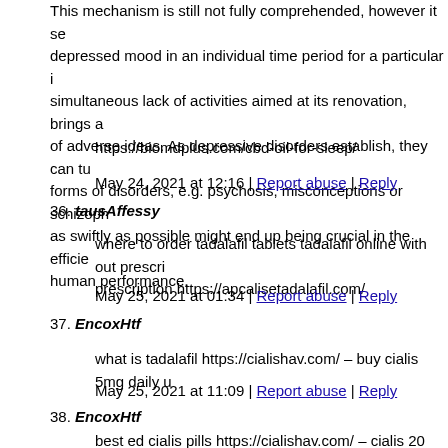This mechanism is still not fully comprehended, however it se... depressed mood in an individual time period for a particular i... simultaneous lack of activities aimed at its renovation, brings a... of adverse ideas. As depressive disorders establish, they can tu... forms of disorders, e.g. psychosis, misconceptions or schizoph... as swiftly as possible might end up being crucial in the efficie... human performance.
https://biomdplus.com/cbd-oil-for-sleep/
May 24, 2021 at 12:16 | Report abuse | Reply
36. tausAffessy
where to order tadalafil tablets tadalafil online with out prescri... prescription https://apcalisetadalafil.com/
May 25, 2021 at 01:34 | Report abuse | Reply
37. EncoxHtf
what is tadalafil https://cialishav.com/ – buy cialis 5mg daily u
May 25, 2021 at 11:09 | Report abuse | Reply
38. EncoxHtf
best ed cialis pills https://cialishav.com/ – cialis 20 mg dosage